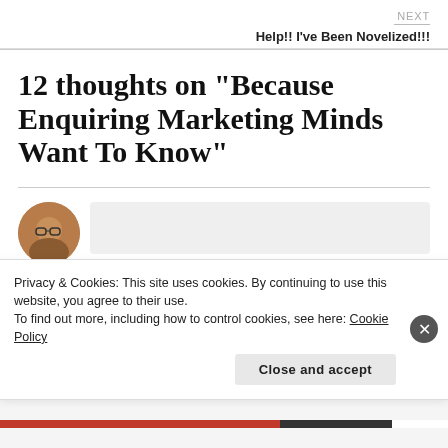NEXT
Help!! I've Been Novelized!!!
12 thoughts on “Because Enquiring Marketing Minds Want To Know”
[Figure (photo): Avatar/profile photo of a person with glasses, circular crop, brownish tones, partially visible]
Privacy & Cookies: This site uses cookies. By continuing to use this website, you agree to their use.
To find out more, including how to control cookies, see here: Cookie Policy
Close and accept